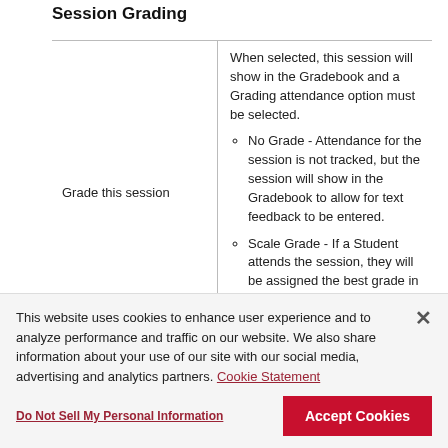Session Grading
|  |  |
| --- | --- |
| Grade this session | When selected, this session will show in the Gradebook and a Grading attendance option must be selected.
• No Grade - Attendance for the session is not tracked, but the session will show in the Gradebook to allow for text feedback to be entered.
• Scale Grade - If a Student attends the session, they will be assigned the best grade in the selected scale. (Grade scales are customizable and... |
This website uses cookies to enhance user experience and to analyze performance and traffic on our website. We also share information about your use of our site with our social media, advertising and analytics partners. Cookie Statement
Do Not Sell My Personal Information
Accept Cookies